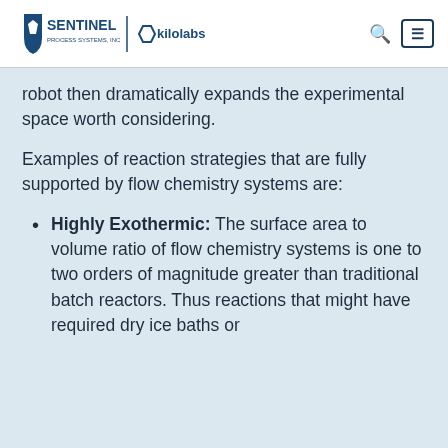SENTINEL PROCESS SYSTEMS, INC | kilolabs
robot then dramatically expands the experimental space worth considering.
Examples of reaction strategies that are fully supported by flow chemistry systems are:
Highly Exothermic: The surface area to volume ratio of flow chemistry systems is one to two orders of magnitude greater than traditional batch reactors. Thus reactions that might have required dry ice baths or